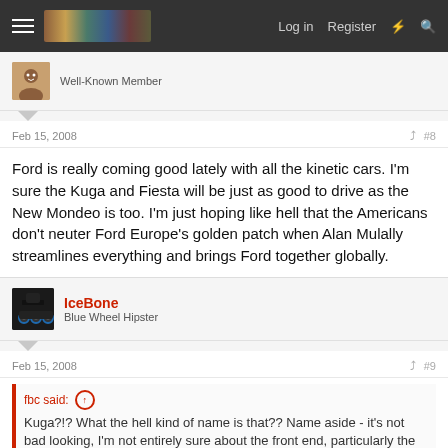Log in  Register
Well-Known Member
Feb 15, 2008  #8
Ford is really coming good lately with all the kinetic cars. I'm sure the Kuga and Fiesta will be just as good to drive as the New Mondeo is too. I'm just hoping like hell that the Americans don't neuter Ford Europe's golden patch when Alan Mulally streamlines everything and brings Ford together globally.
IceBone
Blue Wheel Hipster
Feb 15, 2008  #9
fbc said:
Kuga?!? What the hell kind of name is that?? Name aside - it's not bad looking, I'm not entirely sure about the front end, particularly the